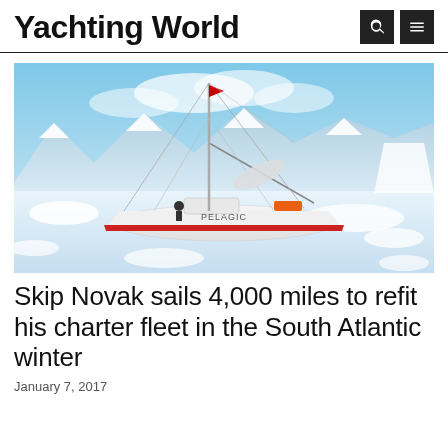Yachting World
[Figure (photo): Sailboat named PELAGIC navigating through icy waters with snow-covered mountains in the background. The boat is white with a red stripe along the hull, with a person visible on deck and the mast rising tall with rigging.]
Skip Novak sails 4,000 miles to refit his charter fleet in the South Atlantic winter
January 7, 2017